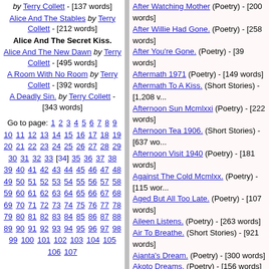by Terry Collett - [137 words]
Alice And The Stables by Terry Collett - [212 words]
Alice And The Secret Kiss.
Alice And The New Dawn by Terry Collett - [495 words]
A Room With No Room by Terry Collett - [392 words]
A Deadly Sin. by Terry Collett - [343 words]
Go to page: 1 2 3 4 5 6 7 8 9 10 11 12 13 14 15 16 17 18 19 20 21 22 23 24 25 26 27 28 29 30 31 32 33 [34] 35 36 37 38 39 40 41 42 43 44 45 46 47 48 49 50 51 52 53 54 55 56 57 58 59 60 61 62 63 64 65 66 67 68 69 70 71 72 73 74 75 76 77 78 79 80 81 82 83 84 85 86 87 88 89 90 91 92 93 94 95 96 97 98 99 100 101 102 103 104 105 106 107
After Watching Mother (Poetry) - [200 words]
After Willie Had Gone. (Poetry) - [258 words]
After You're Gone. (Poetry) - [39 words]
Aftermath 1971 (Poetry) - [149 words]
Aftermath To A Kiss. (Short Stories) - [1,208 w...]
Afternoon Sun Mcmlxxi (Poetry) - [222 words]
Afternoon Tea 1906. (Short Stories) - [637 wo...]
Afternoon Visit 1940 (Poetry) - [181 words]
Against The Cold Mcmlxx. (Poetry) - [115 wor...]
Aged But All Too Late. (Poetry) - [107 words]
Aileen Listens. (Poetry) - [263 words]
Air To Breathe. (Short Stories) - [921 words]
Ajanta's Dream. (Poetry) - [300 words]
Akoto Dreams. (Poetry) - [156 words]
Aldrush Dished The Dirt. (Poetry) - [279 word...]
Alice Alone. (Poetry) - [248 words]
Alice And Her Wonderland. (Poetry) - [316 wo...]
Alice And The Caricature. (Poetry) - [177 wore...]
Alice And The Lady's Maid. (Short Stories) - [...]
Alice And The New Dawn (Poetry) - [495 wore...]
Alice And The Photographer. (Poetry) - [126 v...]
Alice And The Row. (Poetry) - [270 words]
Alice And The Stables (Poetry) - [212 words]
Alice And The Tower. (Poetry) - [534 words]
Alice Awyer Drowned Her Seventh Child. (Po...)